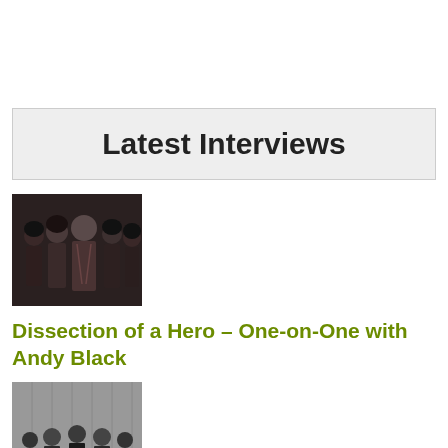Latest Interviews
[Figure (photo): Band photo – group of musicians including Andy Black, gothic/rock style, dark clothing]
Dissection of a Hero – One-on-One with Andy Black
[Figure (photo): Band photo – black and white image of The Devil Wears Prada members standing outdoors near a building]
A Conversation About Color -with The Devil Wears